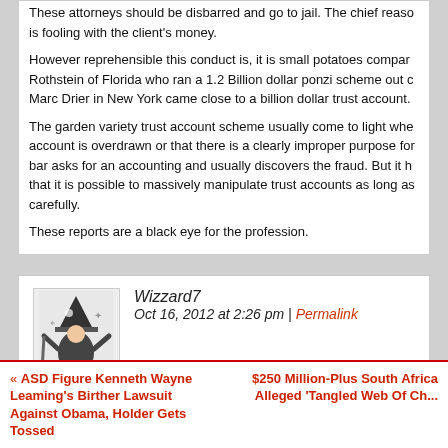These attorneys should be disbarred and go to jail. The chief reason is fooling with the client's money.

However reprehensible this conduct is, it is small potatoes compared to Rothstein of Florida who ran a 1.2 Billion dollar ponzi scheme out of Marc Drier in New York came close to a billion dollar trust account.

The garden variety trust account scheme usually come to light when the account is overdrawn or that there is a clearly improper purpose for the bar asks for an accounting and usually discovers the fraud. But it has shown that it is possible to massively manipulate trust accounts as long as carefully.

These reports are a black eye for the profession.
Wizzard7
Oct 16, 2012 at 2:26 pm | Permalink

Dwight Schweitzer fooled with a client's money, borrowed thousands and did not pay it back. That is why he was suspended on Ethics violations. To my knowledge, he never paid the client back nor took Ethics classes to...
« ASD Figure Kenneth Wayne Leaming's Birther Lawsuit Against Obama, Holder Gets Tossed
$250 Million-Plus South Africa Alleged 'Tangled Web Of Ch...